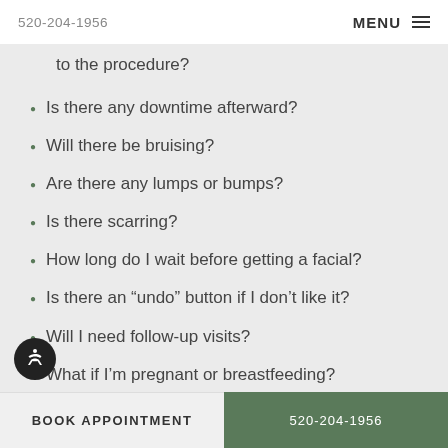520-204-1956   MENU
to the procedure?
Is there any downtime afterward?
Will there be bruising?
Are there any lumps or bumps?
Is there scarring?
How long do I wait before getting a facial?
Is there an “undo” button if I don’t like it?
Will I need follow-up visits?
What if I’m pregnant or breastfeeding?
BOOK APPOINTMENT   520-204-1956